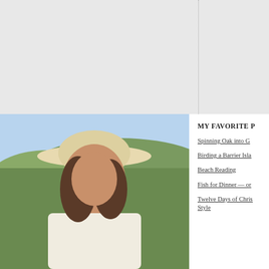[Figure (photo): Woman wearing a wide-brimmed cream cowboy hat, smiling, outdoors with green hills/trees and blue sky in background, wearing white shirt]
MY FAVORITE P
Spinning Oak into G
Birding a Barrier Isla
Beach Reading
Fish for Dinner — or
Twelve Days of Chris Style